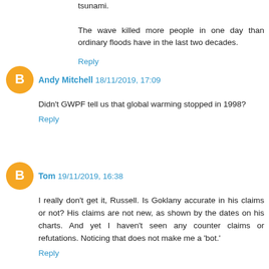tsunami.

The wave killed more people in one day than ordinary floods have in the last two decades.
Reply
Andy Mitchell  18/11/2019, 17:09
Didn't GWPF tell us that global warming stopped in 1998?
Reply
Tom  19/11/2019, 16:38
I really don't get it, Russell. Is Goklany accurate in his claims or not? His claims are not new, as shown by the dates on his charts. And yet I haven't seen any counter claims or refutations. Noticing that does not make me a 'bot.'
Reply